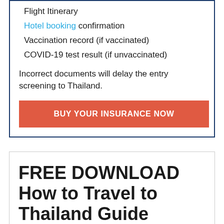Flight Itinerary
Hotel booking confirmation
Vaccination record (if vaccinated)
COVID-19 test result (if unvaccinated)
Incorrect documents will delay the entry screening to Thailand.
BUY YOUR INSURANCE NOW
FREE DOWNLOAD How to Travel to Thailand Guide